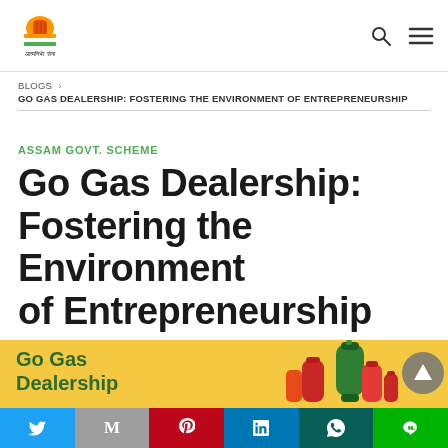Aatmanirbhar Sena [logo] [search icon] [menu icon]
BLOGS › GO GAS DEALERSHIP: FOSTERING THE ENVIRONMENT OF ENTREPRENEURSHIP
ASSAM GOVT. SCHEME
Go Gas Dealership: Fostering the Environment of Entrepreneurship
[Figure (illustration): Yellow banner showing 'Go Gas Dealership' text in dark green, with red and green gas cylinders on the right and a dark circle with a play/up arrow button.]
Twitter | Gmail | Pinterest | LinkedIn | WhatsApp | LINE social share buttons